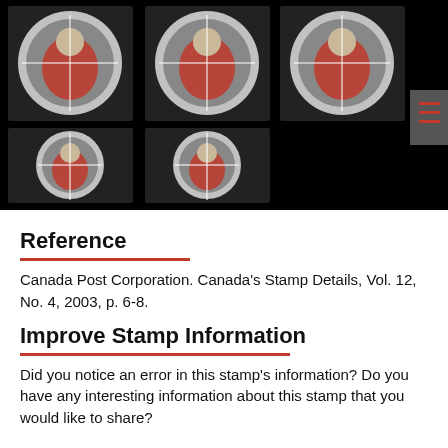[Figure (photo): Five circular Canadian postage stamps showing astronauts in red spacesuits, arranged in two rows on a black background. Three stamps in top row, two stamps in bottom row. A menu icon (three horizontal red lines) overlays the right side.]
Reference
Canada Post Corporation. Canada's Stamp Details, Vol. 12, No. 4, 2003, p. 6-8.
Improve Stamp Information
Did you notice an error in this stamp's information? Do you have any interesting information about this stamp that you would like to share?